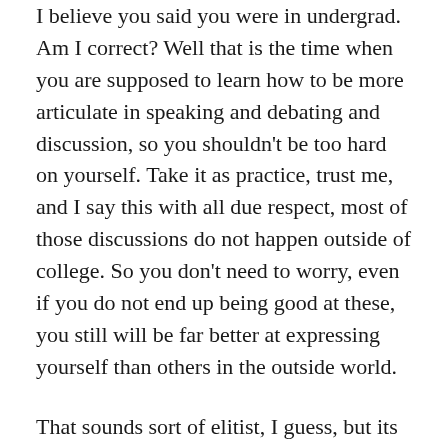I believe you said you were in undergrad. Am I correct? Well that is the time when you are supposed to learn how to be more articulate in speaking and debating and discussion, so you shouldn't be too hard on yourself. Take it as practice, trust me, and I say this with all due respect, most of those discussions do not happen outside of college. So you don't need to worry, even if you do not end up being good at these, you still will be far better at expressing yourself than others in the outside world.
That sounds sort of elitist, I guess, but its true, many people do not get college training, so they are not used to processing things critically and speaking their complicated